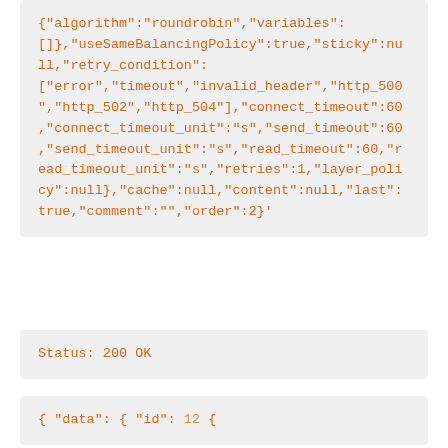{"algorithm":"roundrobin","variables":[],"useSameBalancingPolicy":true,"sticky":null,"retry_condition":["error","timeout","invalid_header","http_500","http_502","http_504"],"connect_timeout":60,"connect_timeout_unit":"s","send_timeout":60,"send_timeout_unit":"s","read_timeout":60,"read_timeout_unit":"s","retries":1,"layer_policy":null},"cache":null,"content":null,"last":true,"comment":"","order":2}'
Status: 200 OK
{
    "data": {
        "id": 12
    {